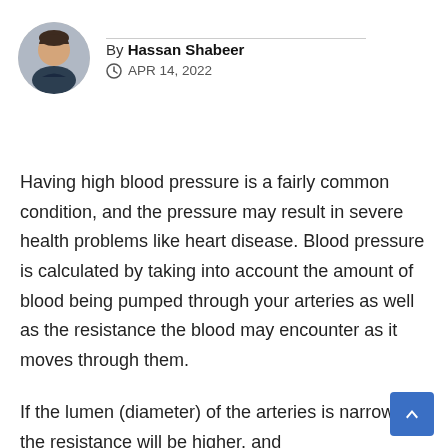By Hassan Shabeer
APR 14, 2022
Having high blood pressure is a fairly common condition, and the pressure may result in severe health problems like heart disease. Blood pressure is calculated by taking into account the amount of blood being pumped through your arteries as well as the resistance the blood may encounter as it moves through them.
If the lumen (diameter) of the arteries is narrower, the resistance will be higher, and